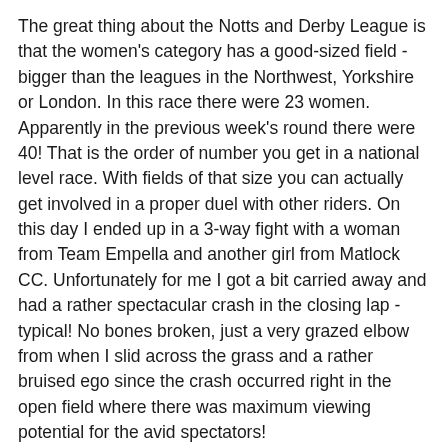The great thing about the Notts and Derby League is that the women's category has a good-sized field - bigger than the leagues in the Northwest, Yorkshire or London. In this race there were 23 women. Apparently in the previous week's round there were 40! That is the order of number you get in a national level race. With fields of that size you can actually get involved in a proper duel with other riders. On this day I ended up in a 3-way fight with a woman from Team Empella and another girl from Matlock CC. Unfortunately for me I got a bit carried away and had a rather spectacular crash in the closing lap - typical! No bones broken, just a very grazed elbow from when I slid across the grass and a rather bruised ego since the crash occurred right in the open field where there was maximum viewing potential for the avid spectators!
Anyway, that aside, it was a fun race with a friendly atmosphere. I hope to be back doing one of those league races before long, and would recommend it to anyone starting out in cyclo cross.